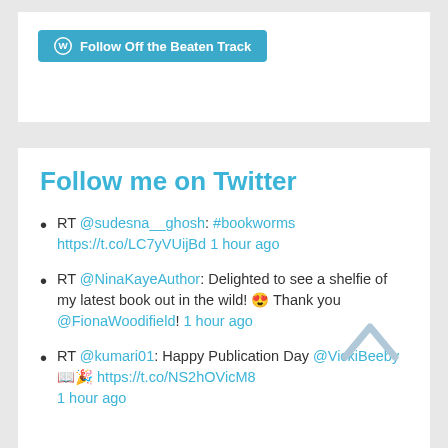[Figure (screenshot): WordPress 'Follow Off the Beaten Track' button in teal/blue color with WordPress logo icon]
Follow me on Twitter
RT @sudesna__ghosh: #bookworms https://t.co/LC7yVUijBd 1 hour ago
RT @NinaKayeAuthor: Delighted to see a shelfie of my latest book out in the wild! 😍 Thank you @FionaWoodifield! 1 hour ago
RT @kumari01: Happy Publication Day @VickiBeeby 📖🎉 https://t.co/NS2hOVicM8 1 hour ago